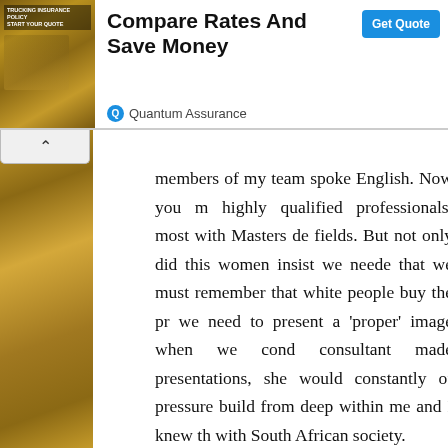[Figure (screenshot): Advertisement banner for Quantum Assurance insurance with 'Compare Rates And Save Money' headline, a Get Quote button, and a background image of a truck driver.]
members of my team spoke English. Now you m highly qualified professionals, most with Masters de fields. But not only did this women insist we neede that we must remember that white people buy the pr we need to present a 'proper' image when we cond consultant made presentations, she would constantly of pressure build from deep within me and I knew th with South African society.
MO: That was quite racist and patronising
DB: Yes indeed it was - but this experience was shocked of course that someone can have the audac